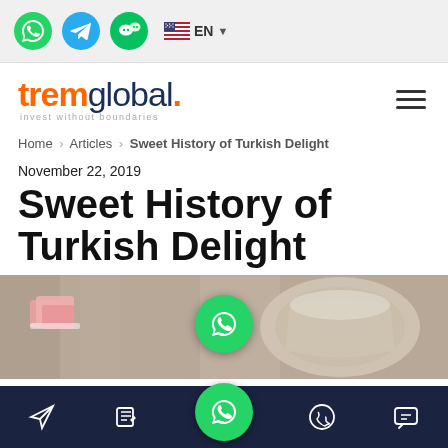Social icons: WhatsApp, Telegram, WeChat | EN language selector
[Figure (logo): tremglobal. logo with tagline 'invest without boundaries']
Home > Articles > Sweet History of Turkish Delight
November 22, 2019
Sweet History of Turkish Delight
[Figure (photo): Photo of Turkish Delight candy pieces on a rustic wood surface with a decorative silver container]
Bottom navigation bar with icons: send, edit/note, WhatsApp (center floating), phone/call, chat